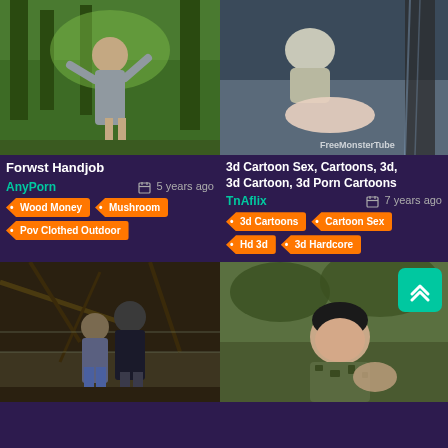[Figure (photo): Woman in grey dress standing outdoors in green forest]
Forwst Handjob
AnyPorn   5 years ago
Wood Money
Mushroom
Pov Clothed Outdoor
[Figure (photo): 3D cartoon animation scene with humanoid figures outdoors, watermarked FreeMonsterTube]
3d Cartoon Sex, Cartoons, 3d, 3d Cartoon, 3d Porn Cartoons
TnAflix   7 years ago
3d Cartoons
Cartoon Sex
Hd 3d
3d Hardcore
[Figure (photo): Two people outdoors in wooded area]
[Figure (photo): Young man in military camouflage shirt outdoors]